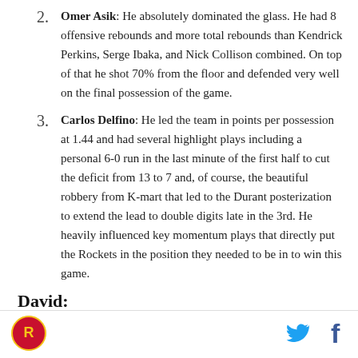Omer Asik: He absolutely dominated the glass. He had 8 offensive rebounds and more total rebounds than Kendrick Perkins, Serge Ibaka, and Nick Collison combined. On top of that he shot 70% from the floor and defended very well on the final possession of the game.
Carlos Delfino: He led the team in points per possession at 1.44 and had several highlight plays including a personal 6-0 run in the last minute of the first half to cut the deficit from 13 to 7 and, of course, the beautiful robbery from K-mart that led to the Durant posterization to extend the lead to double digits late in the 3rd. He heavily influenced key momentum plays that directly put the Rockets in the position they needed to be in to win this game.
David:
Chandler Parsons: Parsons with the near triple double
[Figure (logo): Houston Rockets circular logo in red and gold]
[Figure (logo): Twitter bird icon in blue]
[Figure (logo): Facebook f icon in dark blue]